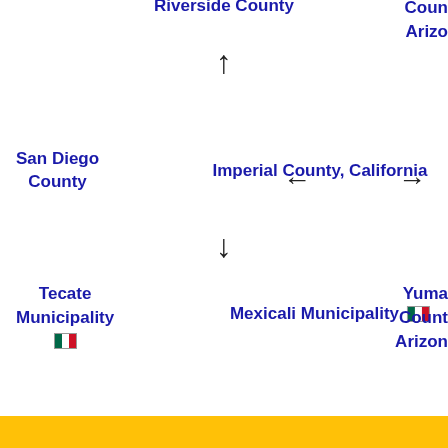Riverside County
County Arizona
San Diego County
Imperial County, California
Tecate Municipality
Mexicali Municipality
Yuma County Arizona
Municipalities and communities of Imperial County, California, United States
County seat: El Centro
Brawley
Calexico
Calipatria